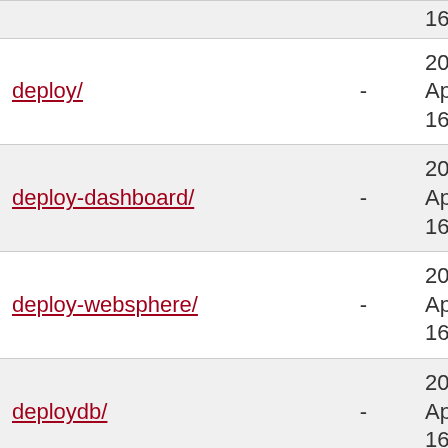| Name | Size | Date |
| --- | --- | --- |
|  |  | 16:13 |
| deploy/ | - | 2022-Apr-22 16:13 |
| deploy-dashboard/ | - | 2022-Apr-22 16:13 |
| deploy-websphere/ | - | 2022-Apr-22 16:13 |
| deploydb/ | - | 2022-Apr-22 16:13 |
| deployed-on-column/ | - | 2022-Apr-22 16:13 |
| deployer-framework/ | - | 2022-Apr-22 16:13 |
| deploygate-plugin/ | - | 2022-Apr-22 16:13 |
|  |  | 2022- |